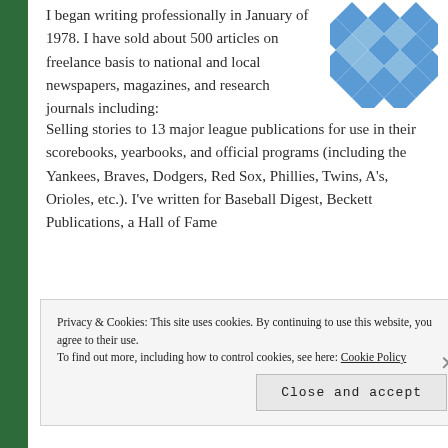[Figure (logo): Blue diamond/checkerboard pattern logo in top right corner]
I began writing professionally in January of 1978. I have sold about 500 articles on freelance basis to national and local newspapers, magazines, and research journals including: Selling stories to 13 major league publications for use in their scorebooks, yearbooks, and official programs (including the Yankees, Braves, Dodgers, Red Sox, Phillies, Twins, A's, Orioles, etc.). I've written for Baseball Digest, Beckett Publications, a Hall of Fame
Privacy & Cookies: This site uses cookies. By continuing to use this website, you agree to their use. To find out more, including how to control cookies, see here: Cookie Policy
Close and accept